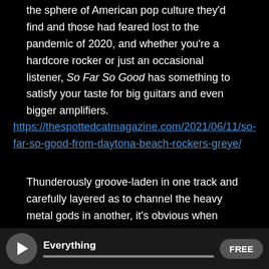the sphere of American pop culture they'd find and those had feared lost to the pandemic of 2020, and whether you're a hardcore rocker or just an occasional listener, So Far So Good has something to satisfy your taste for big guitars and even bigger amplifiers.
https://thespottedcatmagazine.com/2021/06/11/so-far-so-good-from-daytona-beach-rockers-greye/
Thunderously groove-laden in one track and carefully layered as to channel the heavy metal gods in another, it's obvious when listening to the new album So Far So Good from Greye that noted Daytona Beach rock outfit has a lot of energy they're looking to burn off this summer.  Comprised of hard-hitting songs like
Everything | FREE